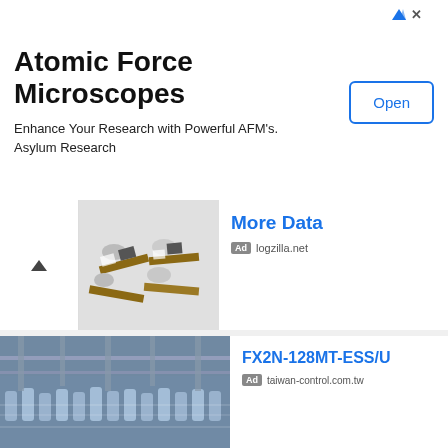[Figure (screenshot): Top advertisement banner for Atomic Force Microscopes by Asylum Research with Open button]
Atomic Force Microscopes
Enhance Your Research with Powerful AFM's. Asylum Research
More Data
Ad logzilla.net
[Figure (photo): Industrial factory floor with bottling/canning conveyor line, blurry motion]
FX2N-128MT-ESS/U
Ad taiwan-control.com.tw
[Figure (photo): Blue advertisement banner: LIMITED TIME OFFER UP TO 30% DISCOUNT with Press Release book graphic]
Increase Your Organic Traffic
Ad SEOeStore